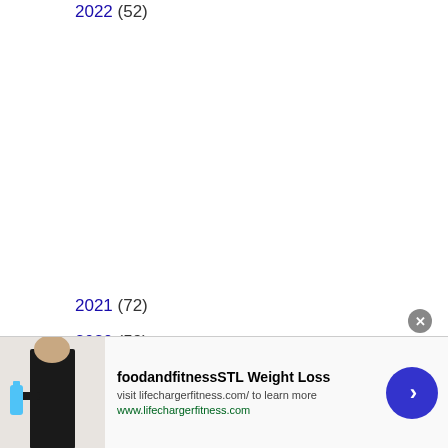2022 (52)
2021 (72)
2020 (59)
[Figure (other): Advertisement banner for foodandfitnessSTL Weight Loss featuring a person holding a blue water bottle, with text 'visit lifechargerfitness.com/ to learn more' and URL 'www.lifechargerfitness.com', a close button, and a blue circular next arrow button.]